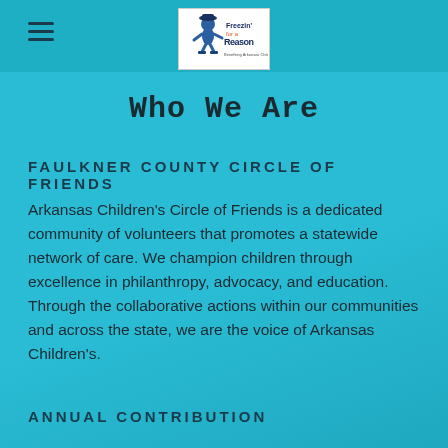Freezin for a Reason logo and hamburger menu
Who We Are
FAULKNER COUNTY CIRCLE OF FRIENDS
Arkansas Children's Circle of Friends is a dedicated community of volunteers that promotes a statewide network of care. We champion children through excellence in philanthropy, advocacy, and education. Through the collaborative actions within our communities and across the state, we are the voice of Arkansas Children's.
ANNUAL CONTRIBUTION